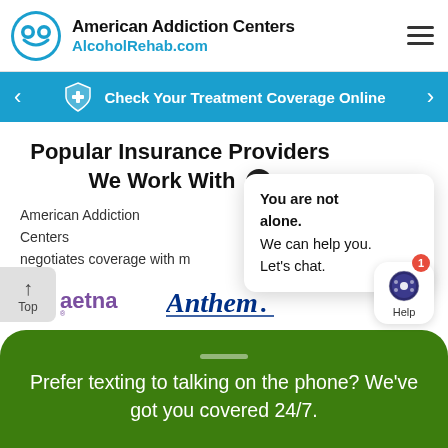American Addiction Centers AlcoholRehab.com
Check Your Treatment Coverage Online
Popular Insurance Providers We Work With
American Addiction Centers negotiates coverage with m…
[Figure (logo): Aetna insurance logo with purple heart]
[Figure (logo): Anthem insurance logo in blue serif font]
You are not alone. We can help you. Let's chat.
Prefer texting to talking on the phone? We've got you covered 24/7.